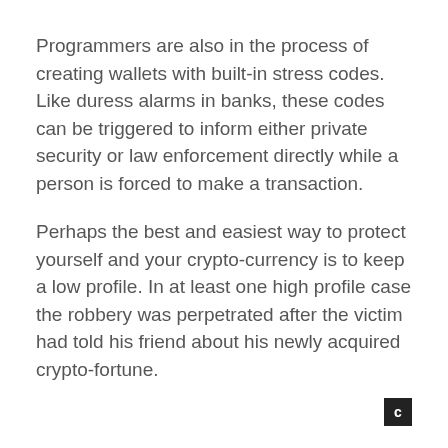Programmers are also in the process of creating wallets with built-in stress codes. Like duress alarms in banks, these codes can be triggered to inform either private security or law enforcement directly while a person is forced to make a transaction.
Perhaps the best and easiest way to protect yourself and your crypto-currency is to keep a low profile. In at least one high profile case the robbery was perpetrated after the victim had told his friend about his newly acquired crypto-fortune.